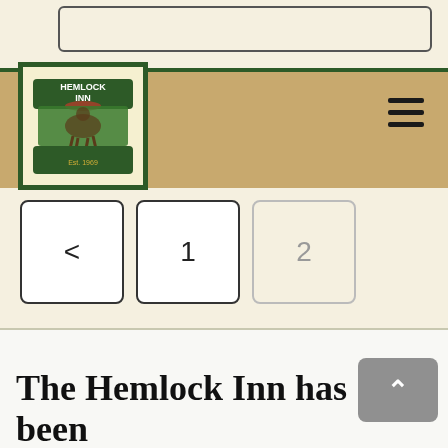[Figure (screenshot): Partial view of a website for Hemlock Inn showing navigation bar with logo, hamburger menu, pagination controls (< 1 2), and beginning of page text 'The Hemlock Inn has been lovingly owned and']
< 1 2
The Hemlock Inn has been lovingly owned and